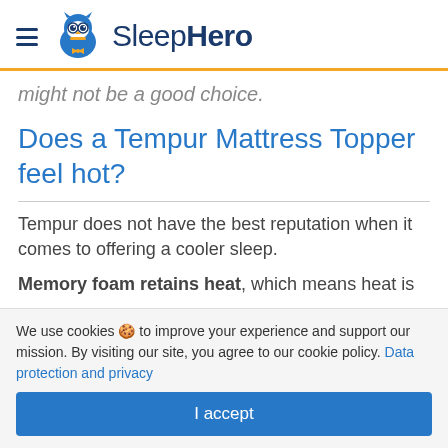SleepHero
might not be a good choice.
Does a Tempur Mattress Topper feel hot?
Tempur does not have the best reputation when it comes to offering a cooler sleep.
Memory foam retains heat, which means heat is
We use cookies 🍪 to improve your experience and support our mission. By visiting our site, you agree to our cookie policy. Data protection and privacy
I accept